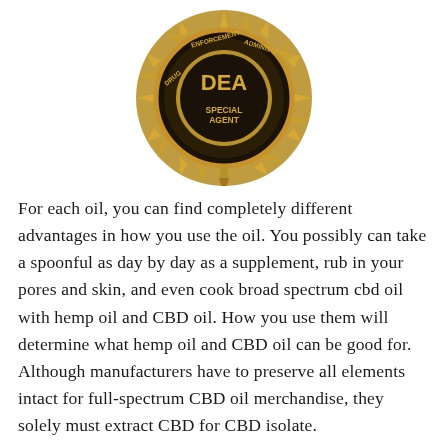[Figure (logo): DEA (Drug Enforcement Administration) Special Agent badge, gold/black metallic badge with 'DEA' letters and 'SPECIAL AGENT' text, sunburst design]
For each oil, you can find completely different advantages in how you use the oil. You possibly can take a spoonful as day by day as a supplement, rub in your pores and skin, and even cook broad spectrum cbd oil with hemp oil and CBD oil. How you use them will determine what hemp oil and CBD oil can be good for. Although manufacturers have to preserve all elements intact for full-spectrum CBD oil merchandise, they solely must extract CBD for CBD isolate.
Hemp seed oil and CBD oil both derive from the hashish plant. CBD oil comes from the